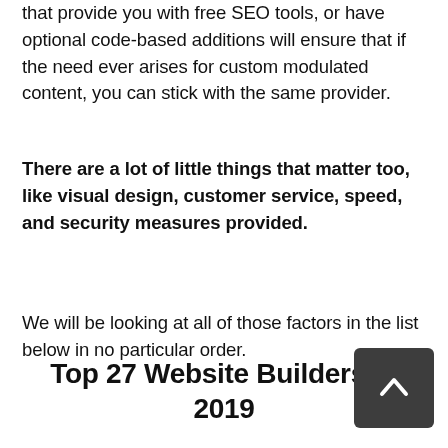that provide you with free SEO tools, or have optional code-based additions will ensure that if the need ever arises for custom modulated content, you can stick with the same provider.
There are a lot of little things that matter too, like visual design, customer service, speed, and security measures provided.
We will be looking at all of those factors in the list below in no particular order.
Top 27 Website Builders in 2019